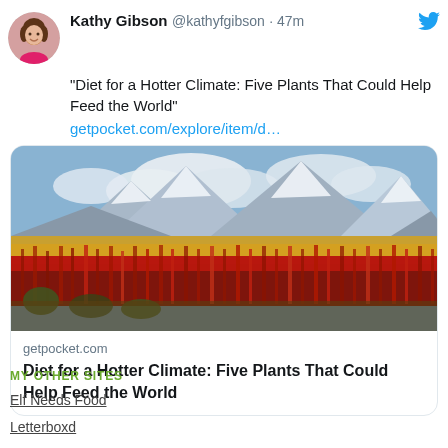Kathy Gibson @kathyfgibson · 47m
"Diet for a Hotter Climate: Five Plants That Could Help Feed the World" getpocket.com/explore/item/d…
[Figure (photo): Landscape photo of red quinoa plants in a field with mountains and cloudy sky in background]
getpocket.com
Diet for a Hotter Climate: Five Plants That Could Help Feed the World
MY OTHER SITES
Elf Needs Food
Letterboxd